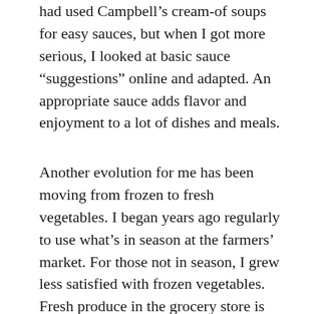had used Campbell's cream-of soups for easy sauces, but when I got more serious, I looked at basic sauce “suggestions” online and adapted. An appropriate sauce adds flavor and enjoyment to a lot of dishes and meals.
Another evolution for me has been moving from frozen to fresh vegetables. I began years ago regularly to use what’s in season at the farmers’ market. For those not in season, I grew less satisfied with frozen vegetables. Fresh produce in the grocery store is generally not as good as fresh from the farmers market, but almost always better than frozen. I’ve veered somewhat from meat-vegetable-starch but still aim for balance, as well